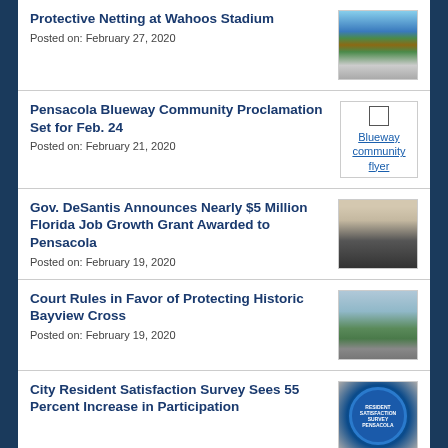Protective Netting at Wahoos Stadium
Posted on: February 27, 2020
Pensacola Blueway Community Proclamation Set for Feb. 24
Posted on: February 21, 2020
Gov. DeSantis Announces Nearly $5 Million Florida Job Growth Grant Awarded to Pensacola
Posted on: February 19, 2020
Court Rules in Favor of Protecting Historic Bayview Cross
Posted on: February 19, 2020
City Resident Satisfaction Survey Sees 55 Percent Increase in Participation